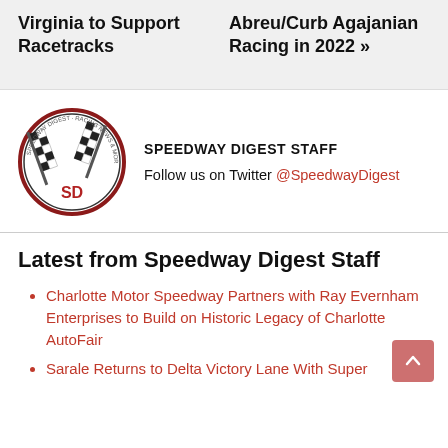Virginia to Support Racetracks
Abreu/Curb Agajanian Racing in 2022 »
[Figure (logo): Speedway Digest logo: circular badge with two crossed checkered flags and 'SD' in red text]
SPEEDWAY DIGEST STAFF
Follow us on Twitter @SpeedwayDigest
Latest from Speedway Digest Staff
Charlotte Motor Speedway Partners with Ray Evernham Enterprises to Build on Historic Legacy of Charlotte AutoFair
Sarale Returns to Delta Victory Lane With Super